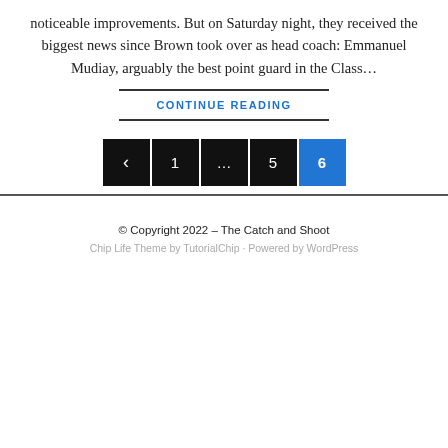noticeable improvements. But on Saturday night, they received the biggest news since Brown took over as head coach: Emmanuel Mudiay, arguably the best point guard in the Class…
CONTINUE READING
© Copyright 2022 – The Catch and Shoot
Chip Life Theme by TutorialChip · Powered by WordPress